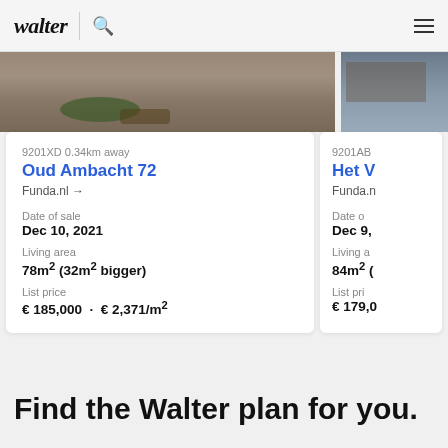walter
[Figure (photo): Aerial/street view photo of a property with paved area and greenery (left card), and partial view of another property (right card)]
9201XD 0.34km away
Oud Ambacht 72
Funda.nl →
Date of sale
Dec 10, 2021
Living area
78m² (32m² bigger)
List price
€ 185,000  ·  € 2,371/m²
9201AB
Het V
Funda.n
Date o
Dec 9,
Living a
84m² (
List pri
€ 179,0
Find the Walter plan for you.